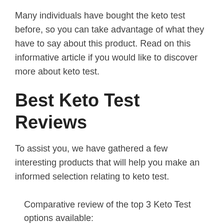Many individuals have bought the keto test before, so you can take advantage of what they have to say about this product. Read on this informative article if you would like to discover more about keto test.
Best Keto Test Reviews
To assist you, we have gathered a few interesting products that will help you make an informed selection relating to keto test.
Comparative review of the top 3 Keto Test options available: